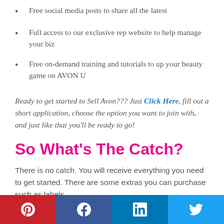Free social media posts to share all the latest
Full access to our exclusive rep website to help manage your biz
Free on-demand training and tutorials to up your beauty game on AVON U
Ready to get started to Sell Avon??? Just Click Here, fill out a short application, choose the option you want to join with, and just like that you'll be ready to go!
So What's The Catch?
There is no catch. You will receive everything you need to get started. There are some extras you can purchase such as labels